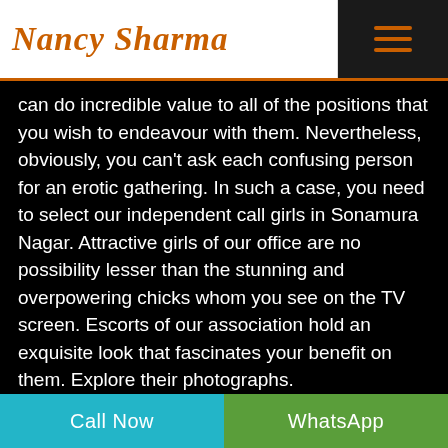Nancy Sharma
can do incredible value to all of the positions that you wish to endeavour with them. Nevertheless, obviously, you can't ask each confusing person for an erotic gathering. In such a case, you need to select our independent call girls in Sonamura Nagar. Attractive girls of our office are no possibility lesser than the stunning and overpowering chicks whom you see on the TV screen. Escorts of our association hold an exquisite look that fascinates your benefit on them. Explore their photographs.
Extraordinarily made planning programs get ready data in our independent Sonamura Nagar goes with. Experts of our association plan our planning programs so it
Call Now   WhatsApp